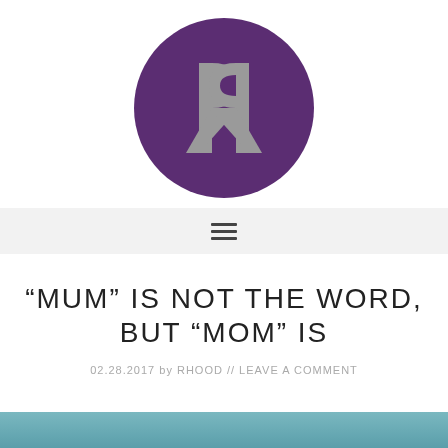[Figure (logo): Circular purple logo with mirrored 'R' letters in silver/grey on a dark purple background]
[Figure (other): Hamburger menu icon (three horizontal lines) on a light grey navigation bar]
“MUM” IS NOT THE WORD, BUT “MOM” IS
02.28.2017 by RHOOD // LEAVE A COMMENT
[Figure (photo): Partial photo strip visible at bottom of page with teal/blue tones]